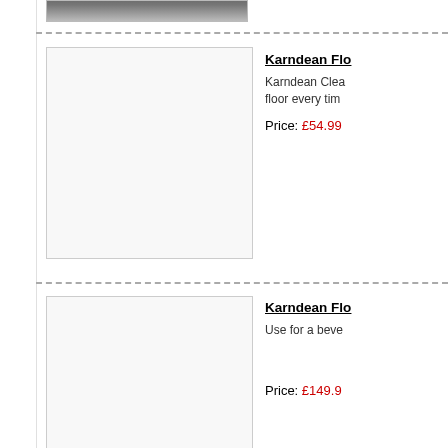[Figure (photo): Partial product image visible at top of page]
Karndean Flo...
Karndean Clea... floor every tim...
Price: £54.99
[Figure (photo): White/blank product image for second Karndean product]
Karndean Flo...
Use for a beve...
Price: £149.99
[Figure (photo): White/blank product image for third Karndean product]
Karndean Flo...
A must have to... tile. Use the ro...
Price: £49.99